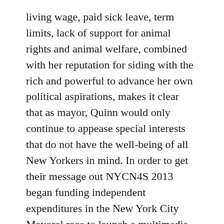living wage, paid sick leave, term limits, lack of support for animal rights and animal welfare, combined with her reputation for siding with the rich and powerful to advance her own political aspirations, makes it clear that as mayor, Quinn would only continue to appease special interests that do not have the well-being of all New Yorkers in mind. In order to get their message out NYCN4S 2013 began funding independent expenditures in the New York City Mayoral race to launch a multimedia campaign that seeks to inform voters of Speaker Quinn's background and encourages them to vote for any candidate but her.
More About Local 1180 and President Arthur Choliotes: